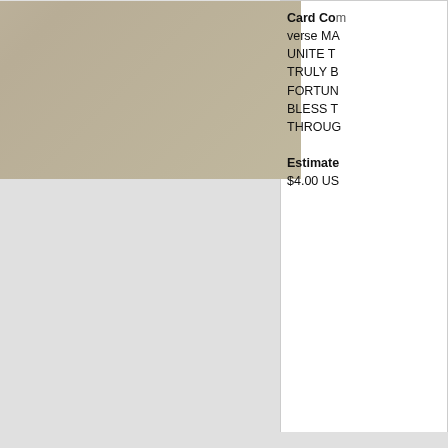[Figure (photo): Vintage birthday postcard with scenic inset, flowers and verse text visible at top of page (partially cut off)]
Card Comment
verse MAY UNITE TRULY BOTH FORTUNE BLESS THIS THROUGH
Estimate
$4.00 USD
roses left & below, bell shaped inset,
[Figure (photo): Vintage birthday postcard featuring a bell-shaped gold inset with rural cottage and sunset scene, pink/red ribbons and roses, green background with red border, text 'Birthday' at bottom]
Set Title
BIRTHDAY floral rural in
Set Comment
embossed, red/gilt bord cards come BIRTHDAY
Estimate
$3.00 USD
Orientation
Vertical